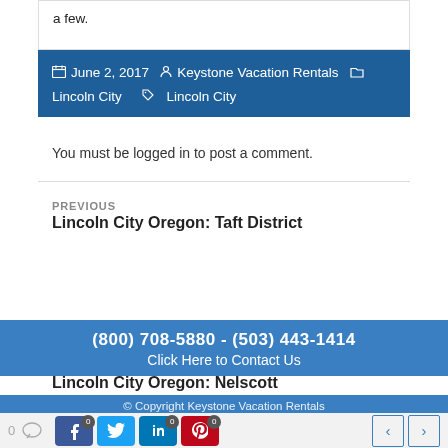a few.
June 2, 2017  Keystone Vacation Rentals  Lincoln City  Lincoln City
You must be logged in to post a comment.
PREVIOUS
Lincoln City Oregon: Taft District
(800) 708-5880 - (503) 443-1414
Click Here to Contact Us
NEXT
Lincoln City Oregon: Nelscott
© Copyright Keystone Vacation Rentals